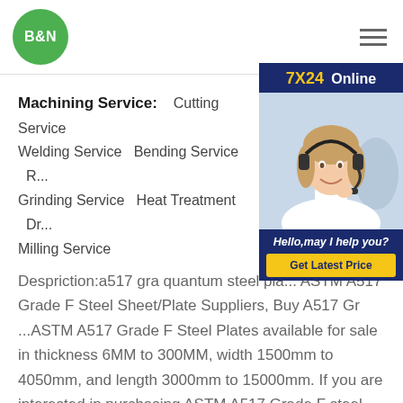[Figure (logo): B&N company logo — white text on green circle]
Machining Service: Cutting Service Welding Service Bending Service R... Grinding Service Heat Treatment Dr... Milling Service
[Figure (photo): 7X24 Online customer service popup with a woman wearing a headset, text: Hello,may I help you? and Get Latest Price button]
Despriction:a517 gra quantum steel pla... ASTM A517 Grade F Steel Sheet/Plate Suppliers, Buy A517 Gr ...ASTM A517 Grade F Steel Plates available for sale in thickness 6MM to 300MM, width 1500mm to 4050mm, and length 3000mm to 15000mm. If you are interested in purchasing ASTM A517 Grade F steel plates... Equivalents %